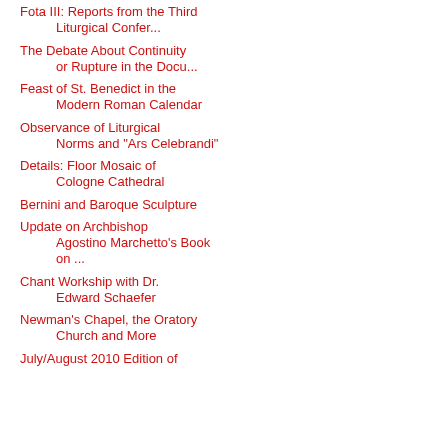Fota III: Reports from the Third Liturgical Confer...
The Debate About Continuity or Rupture in the Docu...
Feast of St. Benedict in the Modern Roman Calendar
Observance of Liturgical Norms and "Ars Celebrandi"
Details: Floor Mosaic of Cologne Cathedral
Bernini and Baroque Sculpture
Update on Archbishop Agostino Marchetto's Book on ...
Chant Workship with Dr. Edward Schaefer
Newman's Chapel, the Oratory Church and More
July/August 2010 Edition of